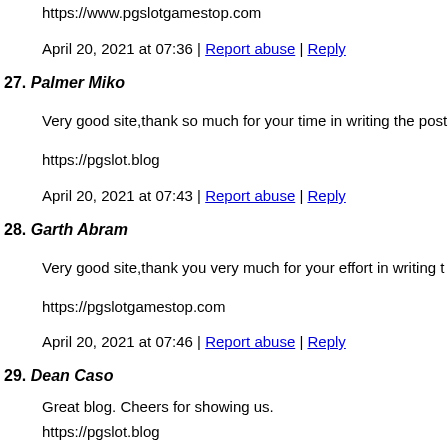https://www.pgslotgamestop.com
April 20, 2021 at 07:36 | Report abuse | Reply
27. Palmer Miko
Very good site,thank so much for your time in writing the post.
https://pgslot.blog
April 20, 2021 at 07:43 | Report abuse | Reply
28. Garth Abram
Very good site,thank you very much for your effort in writing t
https://pgslotgamestop.com
April 20, 2021 at 07:46 | Report abuse | Reply
29. Dean Caso
Great blog. Cheers for showing us.
https://pgslot.blog
April 20, 2021 at 07:54 | Report abuse | Reply
30. Leonard Krack